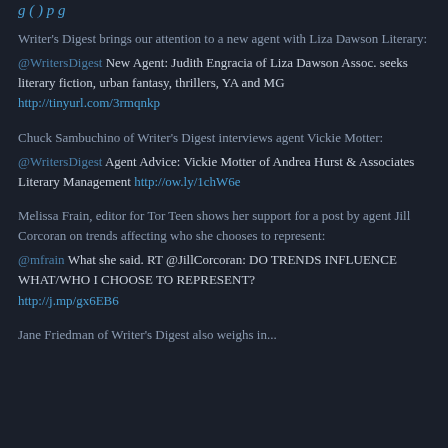Writer's Digest brings our attention to a new agent with Liza Dawson Literary:
@WritersDigest New Agent: Judith Engracia of Liza Dawson Assoc. seeks literary fiction, urban fantasy, thrillers, YA and MG http://tinyurl.com/3rmqnkp
Chuck Sambuchino of Writer's Digest interviews agent Vickie Motter:
@WritersDigest Agent Advice: Vickie Motter of Andrea Hurst & Associates Literary Management http://ow.ly/1chW6e
Melissa Frain, editor for Tor Teen shows her support for a post by agent Jill Corcoran on trends affecting who she chooses to represent:
@mfrain What she said. RT @JillCorcoran: DO TRENDS INFLUENCE WHAT/WHO I CHOOSE TO REPRESENT? http://j.mp/gx6EB6
Jane Friedman of Writer's Digest also weighs in...